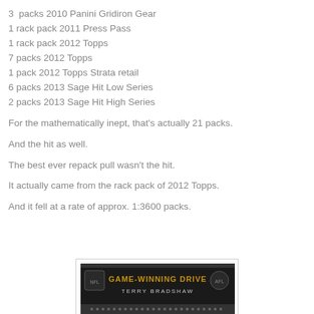3  packs 2010 Panini Gridiron Gear
1 rack pack 2011 Press Pass
1 rack pack 2012 Topps
7 packs 2012 Topps
1 pack 2012 Topps Strata retail
6 packs 2013 Sage Hit Low Series
2 packs 2013 Sage Hit High Series
For the mathematically inept, that's actually 21 packs.
And the hit as well.
The best ever repack pull wasn't the hit.
It actually came from the rack pack of 2012 Topps.
And it fell at a rate of approx. 1:3600 packs.
[Figure (photo): Trading card showing 'Game-Winning Drive' featuring Terry Bradshaw on a dark background]